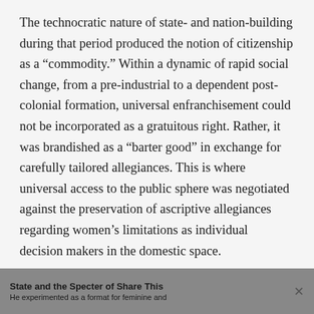The technocratic nature of state- and nation-building during that period produced the notion of citizenship as a “commodity.” Within a dynamic of rapid social change, from a pre-industrial to a dependent post-colonial formation, universal enfranchisement could not be incorporated as a gratuitous right. Rather, it was brandished as a “barter good” in exchange for carefully tailored allegiances. This is where universal access to the public sphere was negotiated against the preservation of ascriptive allegiances regarding women’s limitations as individual decision makers in the domestic space.
State and the Specter of Kinship: Illanca
Share This